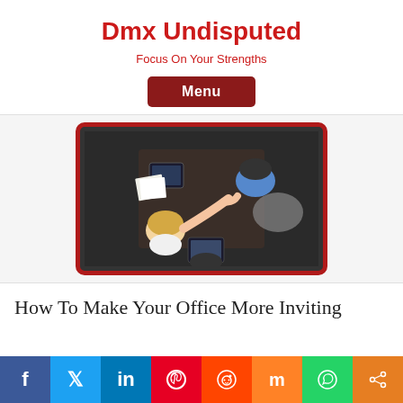Dmx Undisputed
Focus On Your Strengths
Menu
[Figure (photo): Aerial/top-down view of people in an office shaking hands across a desk, with tablets and papers visible]
How To Make Your Office More Inviting
f  Twitter  in  Pinterest  Reddit  m  WhatsApp  Share